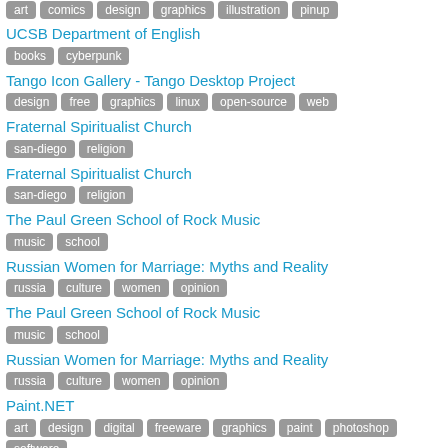art  comics  design  graphics  illustration  pinup
UCSB Department of English
books  cyberpunk
Tango Icon Gallery - Tango Desktop Project
design  free  graphics  linux  open-source  web
Fraternal Spiritualist Church
san-diego  religion
Fraternal Spiritualist Church
san-diego  religion
The Paul Green School of Rock Music
music  school
Russian Women for Marriage: Myths and Reality
russia  culture  women  opinion
The Paul Green School of Rock Music
music  school
Russian Women for Marriage: Myths and Reality
russia  culture  women  opinion
Paint.NET
art  design  digital  freeware  graphics  paint  photoshop  software
intensivstation :: CSS Templates :: Templates
css  design  free  howto  programming  tutorial  web
evhead: Ten Rules for Web Startups